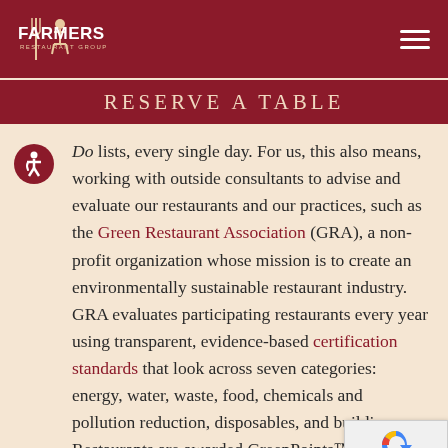FARMERS RESTAURANT GROUP
RESERVE A TABLE
Do lists, every single day. For us, this also means, working with outside consultants to advise and evaluate our restaurants and our practices, such as the Green Restaurant Association (GRA), a non-profit organization whose mission is to create an environmentally sustainable restaurant industry. GRA evaluates participating restaurants every year using transparent, evidence-based certification standards that look across seven categories: energy, water, waste, food, chemicals and pollution reduction, disposables, and building. Restaurants are awarded GreenPoints™ based